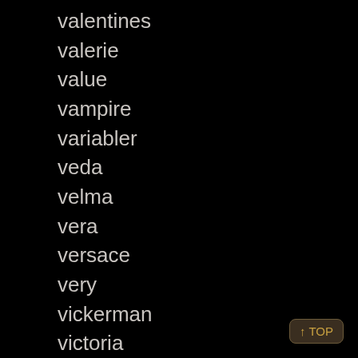valentines
valerie
value
vampire
variabler
veda
velma
vera
versace
very
vickerman
victoria
victorian
victorias
vidaxl
video
vienna
vietnamese